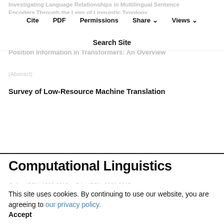Investigating Language Relationships in Multilingual Sentence Encoders Through the Lens of Linguistic Typology
Cite  PDF  Permissions  Share  Views
Search Site
Position Information in Transformers: An Overview
Survey of Low-Resource Machine Translation
Computational Linguistics
This site uses cookies. By continuing to use our website, you are agreeing to our privacy policy.
Accept
Online ISSN: 1530-9312    Print ISSN: 0891-2017